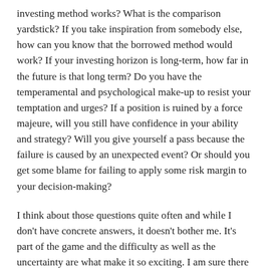investing method works? What is the comparison yardstick? If you take inspiration from somebody else, how can you know that the borrowed method would work? If your investing horizon is long-term, how far in the future is that long term? Do you have the temperamental and psychological make-up to resist your temptation and urges? If a position is ruined by a force majeure, will you still have confidence in your ability and strategy? Will you give yourself a pass because the failure is caused by an unexpected event? Or should you get some blame for failing to apply some risk margin to your decision-making?
I think about those questions quite often and while I don't have concrete answers, it doesn't bother me. It's part of the game and the difficulty as well as the uncertainty are what make it so exciting. I am sure there are thousands, if not millions, of investors out there that have a better return than I do. That's fine. As long as I learn more about myself, improve during this investing journey and receive a sense of fulfillment, even though I can't put a number on it, that is enough.